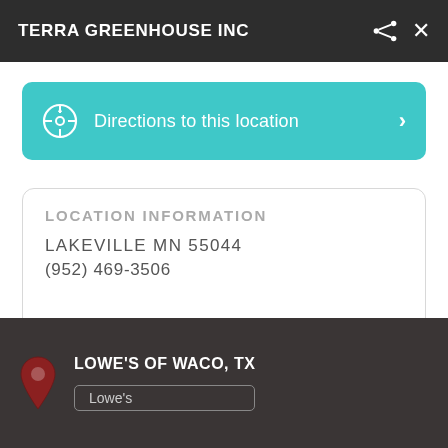TERRA GREENHOUSE INC
Directions to this location
LOCATION INFORMATION
LAKEVILLE MN 55044
(952) 469-3506
TERRA GREENHOUSE INC
LOWE'S OF WACO, TX
Lowe's